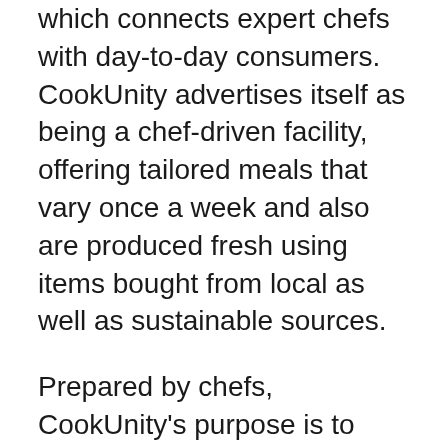which connects expert chefs with day-to-day consumers. CookUnity advertises itself as being a chef-driven facility, offering tailored meals that vary once a week and also are produced fresh using items bought from local as well as sustainable sources.
Prepared by chefs, CookUnity's purpose is to give a high degree of delicious and chef-created diversified meals that can be tailored to match almost any type of dietary requirement or exquisite preference. Even though the dishes given are not customized, the signs on top of the food option web page aid you in customizing to your certain demands by allowing you to choose from reduced salt, vegan, paleo, as well as gluten-free choices, among others examples of